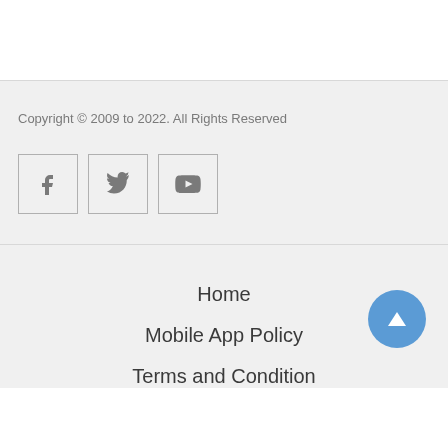Copyright © 2009 to 2022. All Rights Reserved
[Figure (illustration): Three social media icon buttons in bordered square boxes: Facebook (f), Twitter (bird), YouTube (play button)]
Home
Mobile App Policy
Terms and Condition